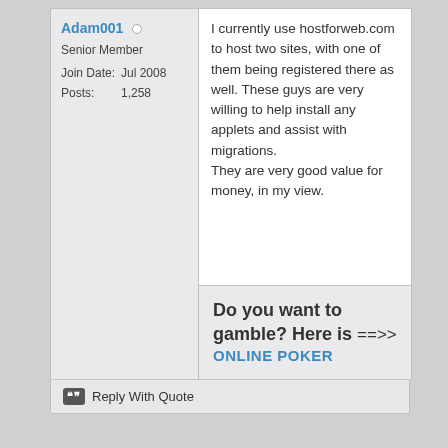Adam001
Senior Member
Join Date: Jul 2008
Posts: 1,258
I currently use hostforweb.com to host two sites, with one of them being registered there as well. These guys are very willing to help install any applets and assist with migrations. They are very good value for money, in my view.
Do you want to gamble? Here is ==>> ONLINE POKER
Reply With Quote